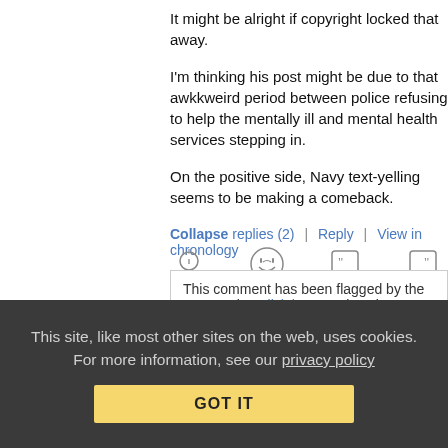It might be alright if copyright locked that away.
I'm thinking his post might be due to that awkkweird period between police refusing to help the mentally ill and mental health services stepping in.
On the positive side, Navy text-yelling seems to be making a comeback.
Collapse replies (2) | Reply | View in chronology
[Figure (infographic): Row of reaction/action icons: lightbulb, laughing emoji, left quote bubble, right quote bubble, flag]
This comment has been flagged by the community. Click here to show it.
This site, like most other sites on the web, uses cookies. For more information, see our privacy policy  GOT IT